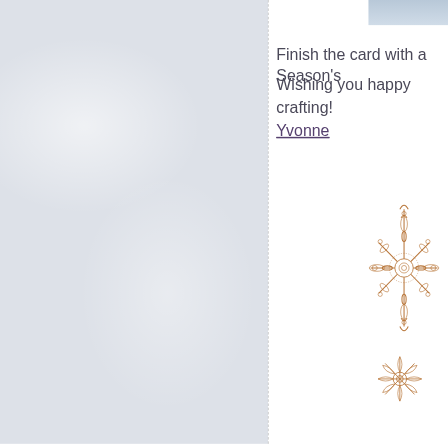[Figure (photo): Left panel with silvery-blue matte textured paper background filling roughly 60% of the page width, with a vertical dashed divider line on the right edge.]
Finish the card with a Season's
Wishing you happy crafting!
Yvonne
[Figure (illustration): Large decorative copper/bronze snowflake ornament die-cut shape, intricate lacy design with pointed arms and filigree details.]
[Figure (illustration): Smaller decorative copper/bronze snowflake/flower ornament die-cut shape with rounded petal arms and center detail.]